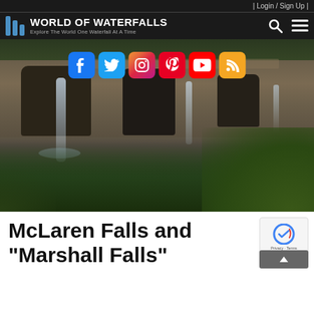| Login / Sign Up |
World of Waterfalls
Explore The World One Waterfall At A Time
[Figure (photo): Scenic photo of McLaren Falls and Marshall Falls showing waterfalls cascading over rocky cliffs surrounded by lush green vegetation. Social media icons (Facebook, Twitter, Instagram, Pinterest, YouTube, RSS) overlaid at the top.]
McLaren Falls and "Marshall Falls"